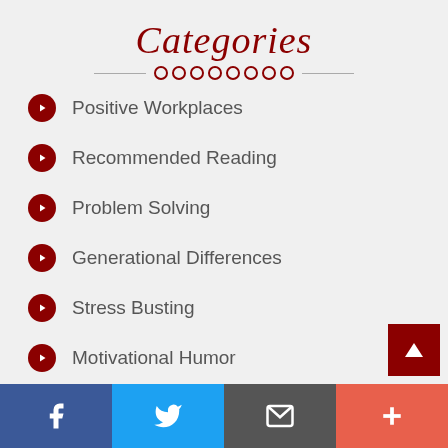Categories
Positive Workplaces
Recommended Reading
Problem Solving
Generational Differences
Stress Busting
Motivational Humor
Keynote Speaking
Facebook | Twitter | Email | Plus